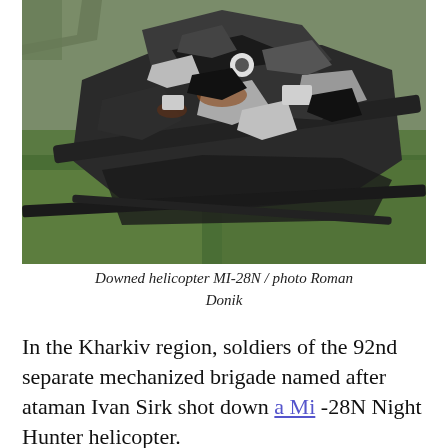[Figure (photo): Wreckage of a downed Mi-28N Night Hunter helicopter lying on a grass field, showing heavily burned and destroyed fuselage and rotor components.]
Downed helicopter MI-28N / photo Roman Donik
In the Kharkiv region, soldiers of the 92nd separate mechanized brigade named after ataman Ivan Sirk shot down a Mi -28N Night Hunter helicopter.